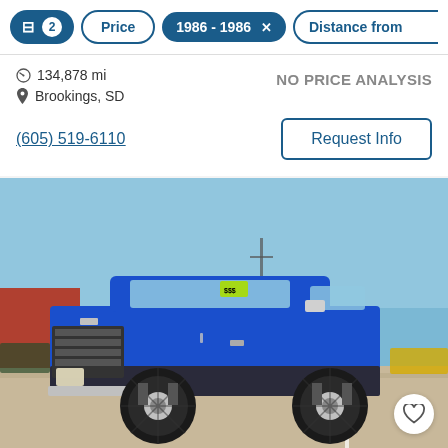Filter bar: sliders icon, 2, Price, 1986 - 1986 ×, Distance from
134,878 mi
Brookings, SD
NO PRICE ANALYSIS
(605) 519-6110
Request Info
[Figure (photo): 1986 Chevrolet K5 Blazer, lifted, bright blue with dark lower body trim, large off-road tires, chrome mirrors, photographed in a parking lot against a clear blue sky. Green price sticker visible on windshield.]